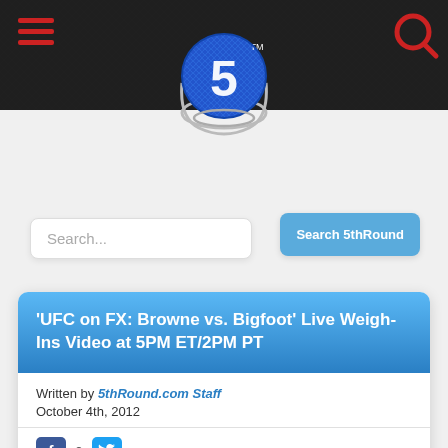[Figure (logo): 5thRound.com website header with logo — a blue metallic circle with a white '5' and chain border, hamburger menu icon on left, search icon on right, dark arena background]
Search...
Search 5thRound
'UFC on FX: Browne vs. Bigfoot' Live Weigh-Ins Video at 5PM ET/2PM PT
Written by 5thRound.com Staff
October 4th, 2012
[Figure (photo): Partial photo strip of a person at the bottom of the article card]